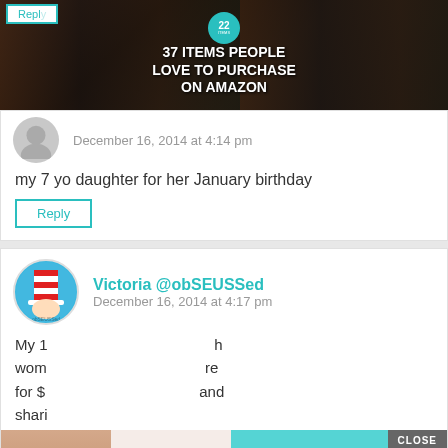[Figure (screenshot): Ad banner showing '37 Items People Love to Purchase on Amazon' with kitchen knives and food items on dark background, with badge showing '22']
December 16, 2014 at 4:14 pm
my 7 yo daughter for her January birthday
Reply
Victoria @obSEUSSed
December 16, 2014 at 4:17 pm
My 1... wom... for $2... shari...
[Figure (screenshot): Ad overlay showing '37 Items People Love to Purchase on Amazon' with teal background, woman with necklace, pink toothpaste dispenser, badge showing '22', and CLOSE button]